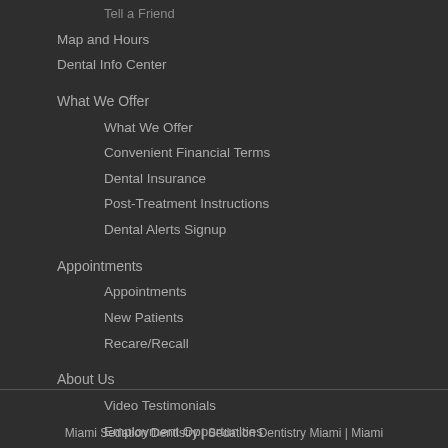Tell a Friend
Map and Hours
Dental Info Center
What We Offer
What We Offer
Convenient Financial Terms
Dental Insurance
Post-Treatment Instructions
Dental Alerts Signup
Appointments
Appointments
New Patients
Recare/Recall
About Us
Video Testimonials
Employment Opportunities
More Information
HIPAA Policy
Miami Sedation Dentistry | Sedation Dentistry Miami | Miami